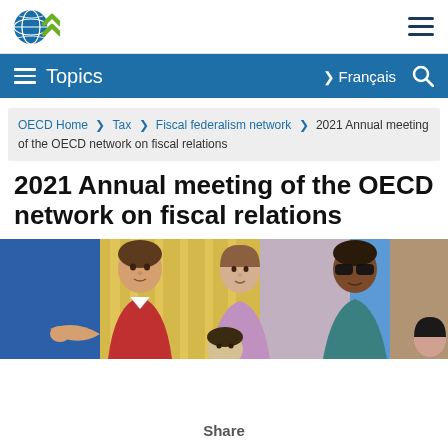[Figure (logo): OECD globe and chevron logo in the top-left white header bar]
Topics  >  Français  🔍
OECD Home > Tax > Fiscal federalism network > 2021 Annual meeting of the OECD network on fiscal relations
2021 Annual meeting of the OECD network on fiscal relations
[Figure (illustration): Illustration of diverse group of people including a man in a red shirt, a woman, and a person wearing sunglasses, depicted in a colorful flat art style]
Share